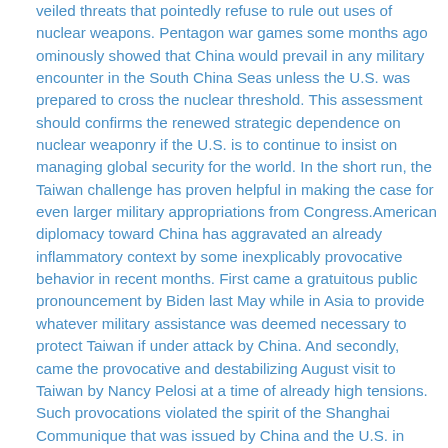veiled threats that pointedly refuse to rule out uses of nuclear weapons. Pentagon war games some months ago ominously showed that China would prevail in any military encounter in the South China Seas unless the U.S. was prepared to cross the nuclear threshold. This assessment should confirms the renewed strategic dependence on nuclear weaponry if the U.S. is to continue to insist on managing global security for the world. In the short run, the Taiwan challenge has proven helpful in making the case for even larger military appropriations from Congress.American diplomacy toward China has aggravated an already inflammatory context by some inexplicably provocative behavior in recent months. First came a gratuitous public pronouncement by Biden last May while in Asia to provide whatever military assistance was deemed necessary to protect Taiwan if under attack by China. And secondly, came the provocative and destabilizing August visit to Taiwan by Nancy Pelosi at a time of already high tensions. Such provocations violated the spirit of the Shanghai Communique that was issued by China and the U.S. in 1972. This document the outcome of a diplomatic breakthrough a half century ago has kept a reasonably stable status quo between these major geopolitical adversaries based on what Henry Kissinger praised as 'strategic ambiguity,' what others have referred to